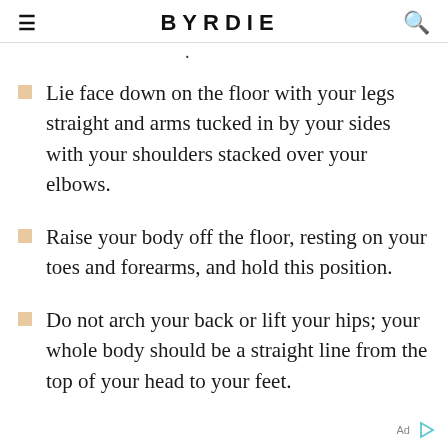BYRDIE
Lie face down on the floor with your legs straight and arms tucked in by your sides with your shoulders stacked over your elbows.
Raise your body off the floor, resting on your toes and forearms, and hold this position.
Do not arch your back or lift your hips; your whole body should be a straight line from the top of your head to your feet.